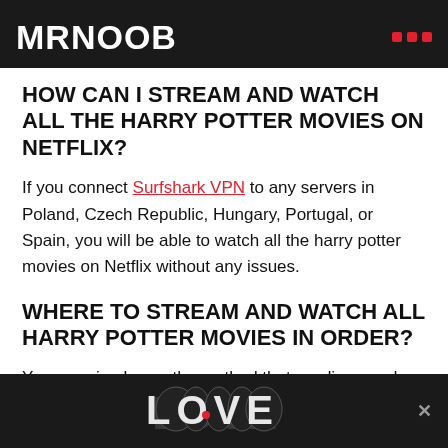MRNOOB
HOW CAN I STREAM AND WATCH ALL THE HARRY POTTER MOVIES ON NETFLIX?
If you connect Surfshark VPN to any servers in Poland, Czech Republic, Hungary, Portugal, or Spain, you will be able to watch all the harry potter movies on Netflix without any issues.
WHERE TO STREAM AND WATCH ALL HARRY POTTER MOVIES IN ORDER?
You can simply use the method that we discussed above and use Surfshark VPN. if you connect to the best servers that offer Harry,
[Figure (other): LOVE advertisement banner with decorative typography at the bottom of the page]